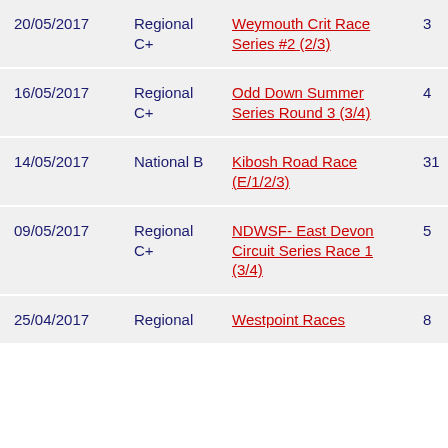| Date | Category | Race | Pos | Pts |
| --- | --- | --- | --- | --- |
| 20/05/2017 | Regional C+ | Weymouth Crit Race Series #2 (2/3) | 3 | 7 |
| 16/05/2017 | Regional C+ | Odd Down Summer Series Round 3 (3/4) | 4 | 6 |
| 14/05/2017 | National B | Kibosh Road Race (E/1/2/3) | 31 | 0 |
| 09/05/2017 | Regional C+ | NDWSF- East Devon Circuit Series Race 1 (3/4) | 5 | 5 |
| 25/04/2017 | Regional | Westpoint Races | 8 | 2 |